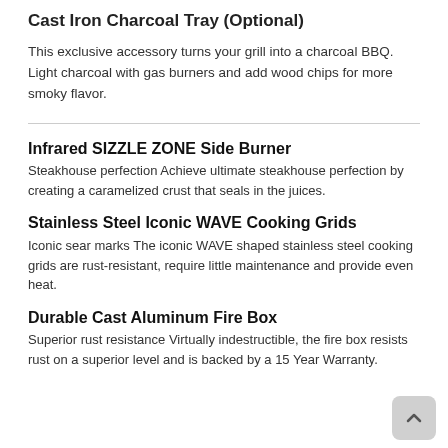Cast Iron Charcoal Tray (Optional)
This exclusive accessory turns your grill into a charcoal BBQ. Light charcoal with gas burners and add wood chips for more smoky flavor.
Infrared SIZZLE ZONE Side Burner
Steakhouse perfection Achieve ultimate steakhouse perfection by creating a caramelized crust that seals in the juices.
Stainless Steel Iconic WAVE Cooking Grids
Iconic sear marks The iconic WAVE shaped stainless steel cooking grids are rust-resistant, require little maintenance and provide even heat.
Durable Cast Aluminum Fire Box
Superior rust resistance Virtually indestructible, the fire box resists rust on a superior level and is backed by a 15 Year Warranty.